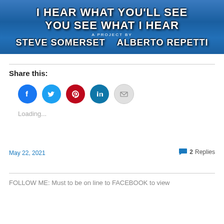[Figure (illustration): Banner image with blue painted background, large white bold text reading 'I HEAR WHAT YOU'LL SEE / YOU SEE WHAT I HEAR', subtitle 'A PROJECT BY', and names 'STEVE SOMERSET   ALBERTO REPETTI']
Share this:
[Figure (infographic): Row of social media icon circles: Facebook (blue), Twitter (light blue), Pinterest (red), LinkedIn (teal), Email (grey)]
Loading...
May 22, 2021
2 Replies
FOLLOW ME: Must to be on line to FACEBOOK to view